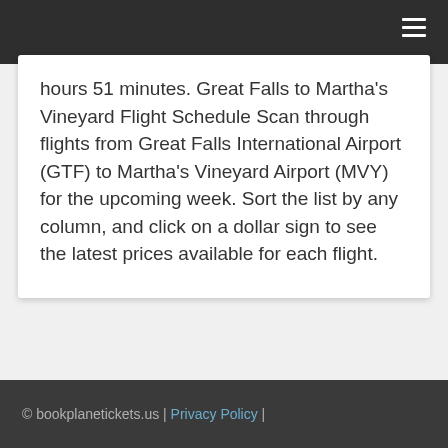hours 51 minutes. Great Falls to Martha's Vineyard Flight Schedule Scan through flights from Great Falls International Airport (GTF) to Martha's Vineyard Airport (MVY) for the upcoming week. Sort the list by any column, and click on a dollar sign to see the latest prices available for each flight.
© bookplanetickets.us | Privacy Policy |